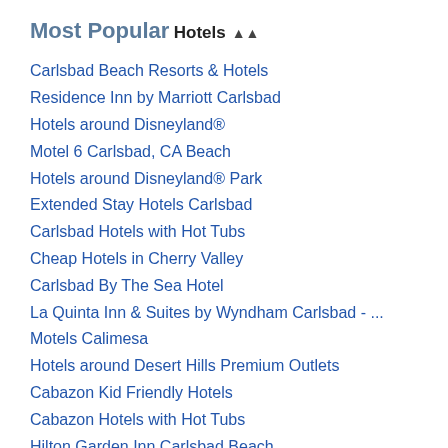Most Popular
Hotels ⇧
Carlsbad Beach Resorts & Hotels
Residence Inn by Marriott Carlsbad
Hotels around Disneyland®
Motel 6 Carlsbad, CA Beach
Hotels around Disneyland® Park
Extended Stay Hotels Carlsbad
Carlsbad Hotels with Hot Tubs
Cheap Hotels in Cherry Valley
Carlsbad By The Sea Hotel
La Quinta Inn & Suites by Wyndham Carlsbad - ...
Motels Calimesa
Hotels around Desert Hills Premium Outlets
Cabazon Kid Friendly Hotels
Cabazon Hotels with Hot Tubs
Hilton Garden Inn Carlsbad Beach